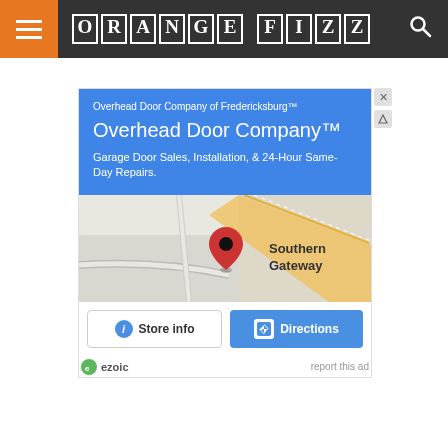ORANGE FIZZ
[Figure (screenshot): Advertisement for Overhead Door Company of Fredericksburg showing a Google Maps location card with blue header, map view of Southern Gateway area, Store info and Directions buttons, and Ezoic ad footer.]